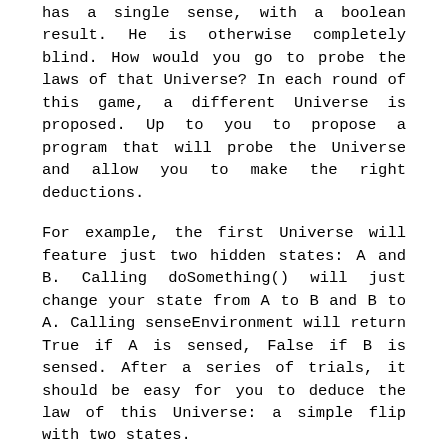has a single sense, with a boolean result. He is otherwise completely blind. How would you go to probe the laws of that Universe? In each round of this game, a different Universe is proposed. Up to you to propose a program that will probe the Universe and allow you to make the right deductions.
For example, the first Universe will feature just two hidden states: A and B. Calling doSomething() will just change your state from A to B and B to A. Calling senseEnvironment will return True if A is sensed, False if B is sensed. After a series of trials, it should be easy for you to deduce the law of this Universe: a simple flip with two states.
In the second Universe, our Citizen is given a position. Each call to doSomething() will actually move him one step in a random direction. His only sense is able to detect that he was already in the same position at some point in the past. You can imagine a snail, or an ant, that leaves olfactive